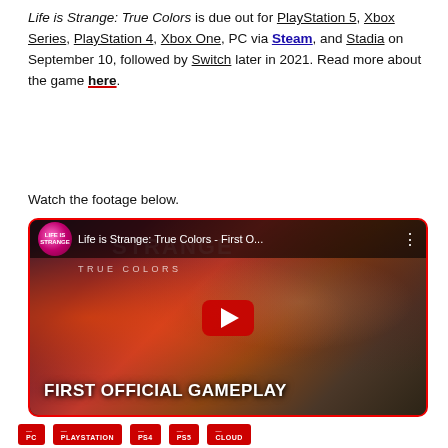Life is Strange: True Colors is due out for PlayStation 5, Xbox Series, PlayStation 4, Xbox One, PC via Steam, and Stadia on September 10, followed by Switch later in 2021. Read more about the game here.
Watch the footage below.
[Figure (screenshot): YouTube embedded video thumbnail for 'Life is Strange: True Colors - First O...' showing a female animated character with dark hair and glasses in a denim jacket, with text overlay 'FIRST OFFICIAL GAMEPLAY' and a red YouTube play button in the center.]
PC  PLAYSTATION  PS4  PS5  CLOUD